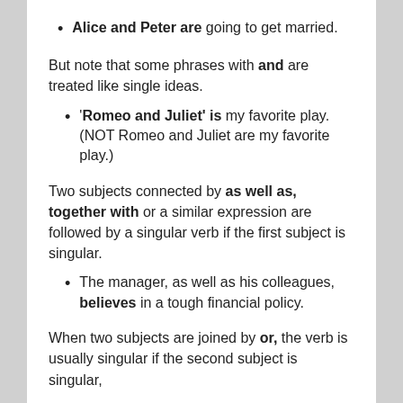Alice and Peter are going to get married.
But note that some phrases with and are treated like single ideas.
'Romeo and Juliet' is my favorite play. (NOT Romeo and Juliet are my favorite play.)
Two subjects connected by as well as, together with or a similar expression are followed by a singular verb if the first subject is singular.
The manager, as well as his colleagues, believes in a tough financial policy.
When two subjects are joined by or, the verb is usually singular if the second subject is singular,